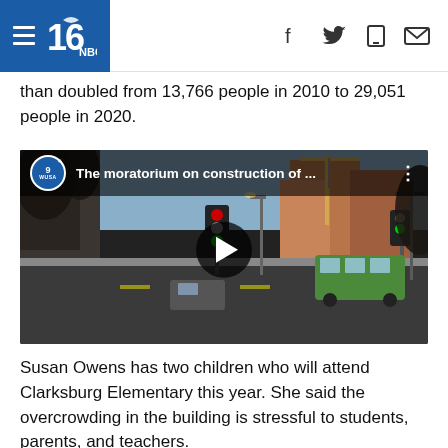NBC Washington / WUSA9 navigation header with hamburger menu, logo, and social icons (Facebook, Twitter, mobile, email)
than doubled from 13,766 people in 2010 to 29,051 people in 2020.
[Figure (screenshot): Embedded video player showing a city street scene with construction cranes and buildings. Top bar shows WUSA9 logo badge and title: 'The moratorium on construction of ...' with three-dot menu. Center shows a play button. Video thumbnail shows an urban street with traffic signals, a green bus, buildings under construction, and bare trees.]
Susan Owens has two children who will attend Clarksburg Elementary this year. She said the overcrowding in the building is stressful to students, parents, and teachers.